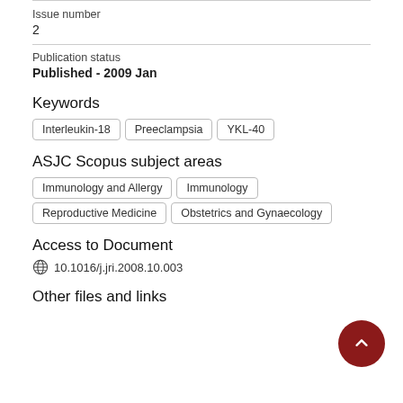Issue number
2
Publication status
Published - 2009 Jan
Keywords
Interleukin-18
Preeclampsia
YKL-40
ASJC Scopus subject areas
Immunology and Allergy
Immunology
Reproductive Medicine
Obstetrics and Gynaecology
Access to Document
10.1016/j.jri.2008.10.003
Other files and links